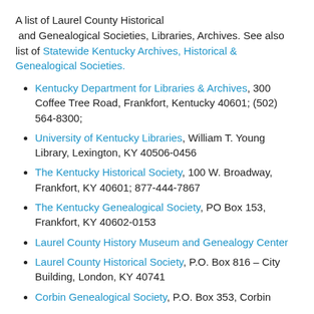A list of Laurel County Historical and Genealogical Societies, Libraries, Archives. See also list of Statewide Kentucky Archives, Historical & Genealogical Societies.
Kentucky Department for Libraries & Archives, 300 Coffee Tree Road, Frankfort, Kentucky 40601; (502) 564-8300;
University of Kentucky Libraries, William T. Young Library, Lexington, KY 40506-0456
The Kentucky Historical Society, 100 W. Broadway, Frankfort, KY 40601; 877-444-7867
The Kentucky Genealogical Society, PO Box 153, Frankfort, KY 40602-0153
Laurel County History Museum and Genealogy Center
Laurel County Historical Society, P.O. Box 816 – City Building, London, KY 40741
Corbin Genealogical Society, P.O. Box 353, Corbin